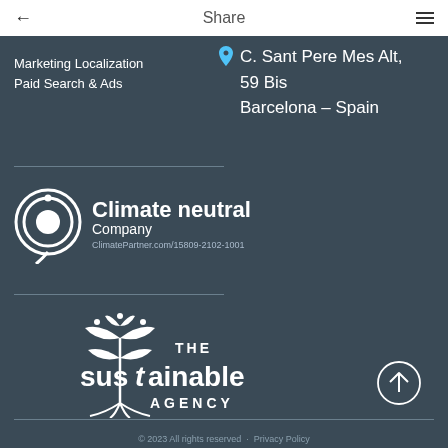Share
Marketing Localization
Paid Search & Ads
C. Sant Pere Mes Alt, 59 Bis Barcelona – Spain
[Figure (logo): Climate neutral Company logo with ClimatePartner.com/15809-2102-1001]
[Figure (logo): THE sustainable AGENCY logo]
© 2023 All rights reserved · Privacy Policy